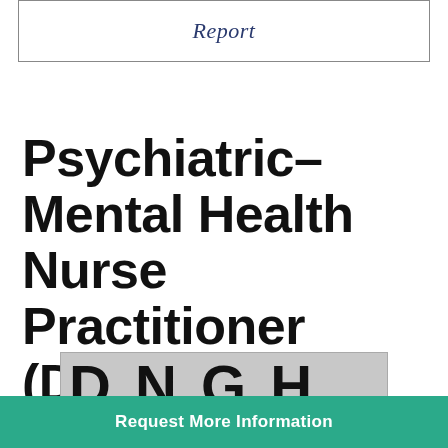Report
Psychiatric–Mental Health Nurse Practitioner (DNP)
[Figure (screenshot): Partially visible logo or banner showing large dark letters on a gray background, cropped at bottom of visible area]
Request More Information